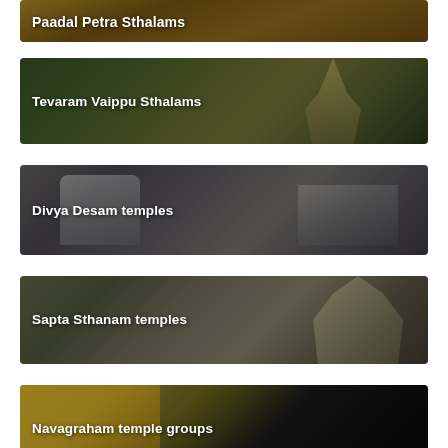[Figure (photo): Temple with golden gopuram/tower - Paadal Petra Sthalams card (partial top)]
[Figure (photo): Temple with trees and colorful gopuram - Tevaram Vaippu Sthalams card]
[Figure (photo): Stone sculptures and temple pillars - Divya Desam temples card]
[Figure (photo): Temple tower with colorful sculptures - Sapta Sthanam temples card]
[Figure (photo): Temple entrance with yellow walls - Navagraham temple groups card]
[Figure (photo): Another temple - partial bottom card]